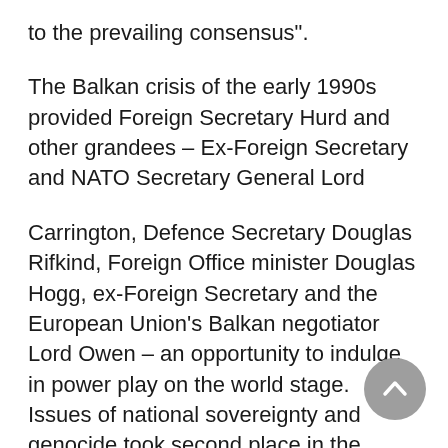to the prevailing consensus".
The Balkan crisis of the early 1990s provided Foreign Secretary Hurd and other grandees – Ex-Foreign Secretary and NATO Secretary General Lord
Carrington, Defence Secretary Douglas Rifkind, Foreign Office minister Douglas Hogg, ex-Foreign Secretary and the European Union's Balkan negotiator Lord Owen – an opportunity to indulge in power play on the world stage.   Issues of national sovereignty and genocide took second place in the desire to impose a British solution to the problem – the